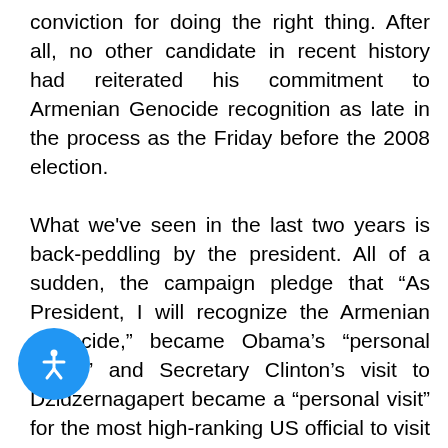conviction for doing the right thing. After all, no other candidate in recent history had reiterated his commitment to Armenian Genocide recognition as late in the process as the Friday before the 2008 election.
What we've seen in the last two years is back-peddling by the president. All of a sudden, the campaign pledge that “As President, I will recognize the Armenian Genocide,” became Obama's “personal belief,” and Secretary Clinton's visit to Dzidzernagapert became a “personal visit” for the most high-ranking US official to visit Armenia since its independence in 1991.
What was most disappointing for the Armenian-American electorate was that not only did Obama [go] on his campaign pledge he also enthusiastically championed the dangerous and now